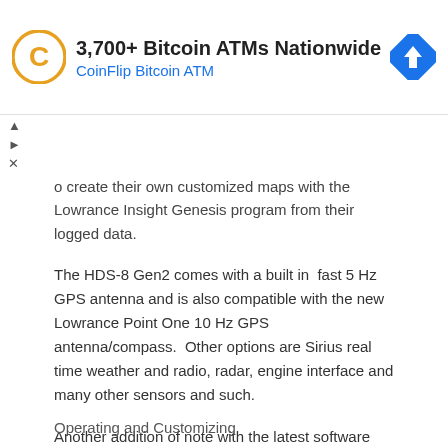[Figure (infographic): Advertisement banner: CoinFlip Bitcoin ATM — '3,700+ Bitcoin ATMs Nationwide' with logo and navigation icon]
o create their own customized maps with the Lowrance Insight Genesis program from their logged data.
The HDS-8 Gen2 comes with a built in  fast 5 Hz GPS antenna and is also compatible with the new Lowrance Point One 10 Hz GPS antenna/compass.  Other options are Sirius real time weather and radio, radar, engine interface and many other sensors and such.
Another addition of note with the latest software update 2.1, the HDS-8 Gen 2 is capable of  viewing sonar and chart displays on tablets and smart phones using GoFree wireless technology. This is an area that will be interesting to see develop as more Apps are created over time.
Operating and Customizing